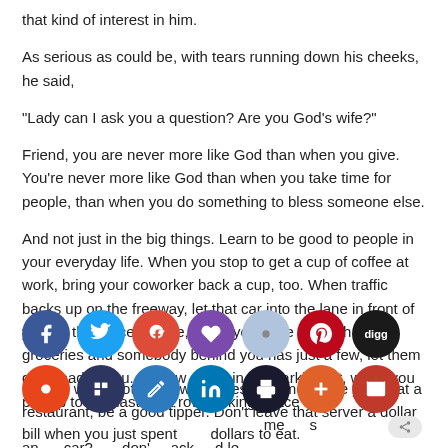that kind of interest in him.
As serious as could be, with tears running down his cheeks, he said,
“Lady can I ask you a question? Are you God’s wife?”
Friend, you are never more like God than when you give. You’re never more like God than when you take time for people, than when you do something to bless someone else.
And not just in the big things. Learn to be good to people in your everyday life. When you stop to get a cup of coffee at work, bring your coworker back a cup, too. When traffic backs up on the freeway, let that car into the lane in front of you. At the grocery store, when you have a bunch of groceries and somebody behind you has just a few, let them go ahead of you. Or how about in the parking lot, when you pull up to that last front row parking space at the same time as another car? Why don’t you back up and let them have that space?
[Figure (infographic): Social media sharing buttons overlay: two rows of circular icon buttons for Facebook, Twitter, Google+, heart/love, SMS, Pinterest, Digg (top row); StumbleUpon, Flipboard, pencil/edit, LinkedIn, print, plus, email (bottom row). A small share button appears at the bottom right.]
Do you want to bless other people when you walk somewhere? When you’re at a restaurant, be a good tipper. Don’t leave that server a dollar bill when you just spent [X] dollars to eat.